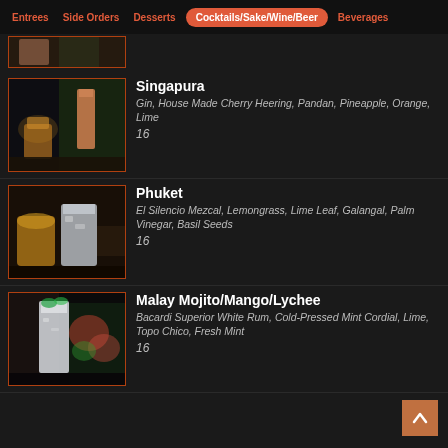Entrees | Side Orders | Desserts | Cocktails/Sake/Wine/Beer (active) | Beverages
[Figure (photo): Partial view of a cocktail drink photo, cut off at top]
Singapura
Gin, House Made Cherry Heering, Pandan, Pineapple, Orange, Lime
16
[Figure (photo): Photo of Phuket cocktail — frosted glass with ice, candle in background]
Phuket
El Silencio Mezcal, Lemongrass, Lime Leaf, Galangal, Palm Vinegar, Basil Seeds
16
[Figure (photo): Photo of Malay Mojito cocktail — tall white frosted glass with mint and flowers]
Malay Mojito/Mango/Lychee
Bacardi Superior White Rum, Cold-Pressed Mint Cordial, Lime, Topo Chico, Fresh Mint
16